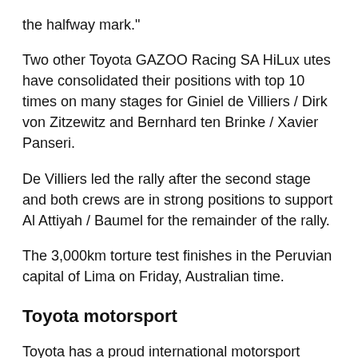the halfway mark."
Two other Toyota GAZOO Racing SA HiLux utes have consolidated their positions with top 10 times on many stages for Giniel de Villiers / Dirk von Zitzewitz and Bernhard ten Brinke / Xavier Panseri.
De Villiers led the rally after the second stage and both crews are in strong positions to support Al Attiyah / Baumel for the remainder of the rally.
The 3,000km torture test finishes in the Peruvian capital of Lima on Friday, Australian time.
Toyota motorsport
Toyota has a proud international motorsport history spanning more than 60 years. It became the first Japanese car manufacturer to enter international motorsport when it contested the 1957 Mobilgas Round Australia Rally, which